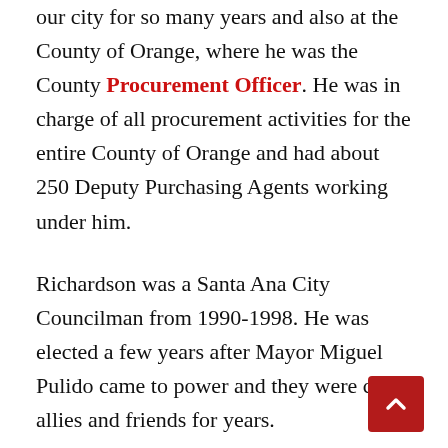our city for so many years and also at the County of Orange, where he was the County Procurement Officer. He was in charge of all procurement activities for the entire County of Orange and had about 250 Deputy Purchasing Agents working under him.
Richardson was a Santa Ana City Councilman from 1990-1998. He was elected a few years after Mayor Miguel Pulido came to power and they were close allies and friends for years.
In February 2003, Richardson was elected to the Board of Education